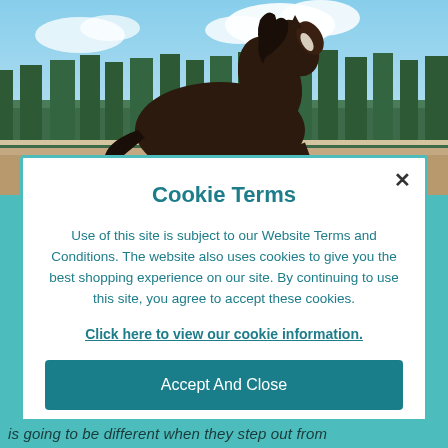[Figure (photo): A dark brown horse galloping in a field with green trees and blue sky in the background]
Cookie Terms
Use of this site is subject to our Website Terms and Conditions. The website also uses cookies to give you the best shopping experience on our site. By continuing to use this site, you agree to accept these cookies.
Click here to view our cookie information.
Accept And Close
is going to be different when they step out from